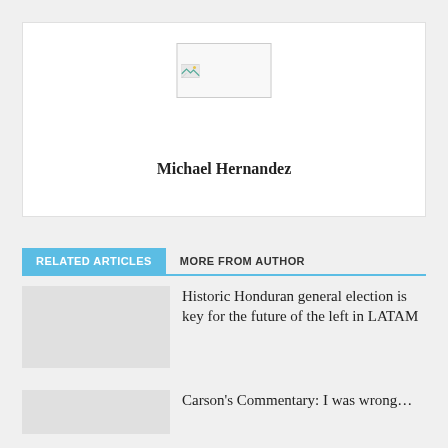[Figure (photo): Author profile photo placeholder with broken image icon for Michael Hernandez]
Michael Hernandez
RELATED ARTICLES
MORE FROM AUTHOR
Historic Honduran general election is key for the future of the left in LATAM
Carson's Commentary: I was wrong…